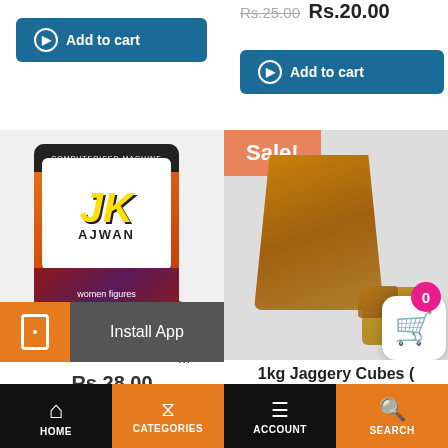[Figure (screenshot): Partial price display at top right showing Rs.25.00 strikethrough and Rs.20.00]
[Figure (screenshot): Add to cart button (left) - teal/blue colored]
[Figure (screenshot): Add to cart button (right) - teal/blue colored]
[Figure (photo): JK Ajwan spice product bag with orange packaging, purple decorative background]
[Figure (photo): 1kg Jaggery Cubes (Gur) product with Sale! badge, showing brown jaggery block and pieces]
m
Rs.28.00
1kg Jaggery Cubes (Gur)
Rs.140.00 Rs.120.00
[Figure (screenshot): Install App overlay with orange phone icon and dark background]
HOME | CATEGORIES | ACCOUNT | SEARCH